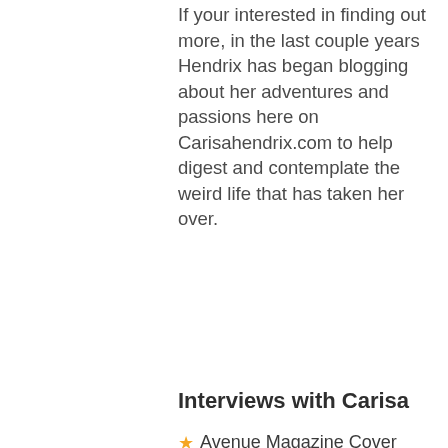If your interested in finding out more, in the last couple years Hendrix has began blogging about her adventures and passions here on Carisahendrix.com to help digest and contemplate the weird life that has taken her over.
Interviews with Carisa
Avenue Magazine Cover Story, Hot Jobs
Alberta Primetime Interview
Hoop Pretty Features me as a Hoopreneur
Interview with Hey Rube Circus
Ballycast Interview
Featured on the Vintage Lesbian Project
Interviewed for the Garden Variety